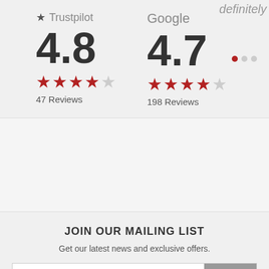[Figure (infographic): Trustpilot rating: 4.8 stars (4.5 star display), 47 Reviews. Google rating: 4.7 stars (4.5 star display), 198 Reviews. Carousel dot indicator showing first dot active.]
JOIN OUR MAILING LIST
Get our latest news and exclusive offers.
Email Address  JOIN